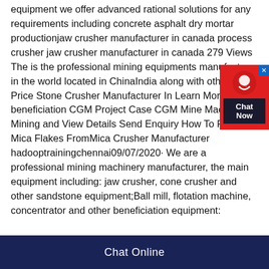equipment we offer advanced rational solutions for any requirements including concrete asphalt dry mortar productionjaw crusher manufacturer in canada process crusher jaw crusher manufacturer in canada 279 Views The is the professional mining equipments manufacturer in the world located in ChinaIndia along with other Get Price Stone Crusher Manufacturer In Learn More mica beneficiation CGM Project Case CGM Mine Machine Mining and View Details Send Enquiry How To Remove Mica Flakes FromMica Crusher Manufacturer hadooptrainingchennai09/07/2020· We are a professional mining machinery manufacturer, the main equipment including: jaw crusher, cone crusher and other sandstone equipment;Ball mill, flotation machine, concentrator and other beneficiation equipment:
[Figure (other): Red chat support widget with headset icon and 'Chat Now' label on dark background, with blue close button in top-right corner]
Chat Online